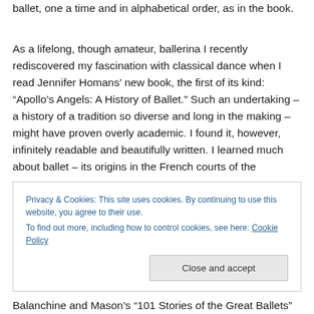ballet, one a time and in alphabetical order, as in the book.
As a lifelong, though amateur, ballerina I recently rediscovered my fascination with classical dance when I read Jennifer Homans’ new book, the first of its kind: “Apollo’s Angels: A History of Ballet.” Such an undertaking – a history of a tradition so diverse and long in the making – might have proven overly academic. I found it, however, infinitely readable and beautifully written. I learned much about ballet – its origins in the French courts of the
Privacy & Cookies: This site uses cookies. By continuing to use this website, you agree to their use.
To find out more, including how to control cookies, see here: Cookie Policy
Close and accept
Balanchine and Mason’s “101 Stories of the Great Ballets”